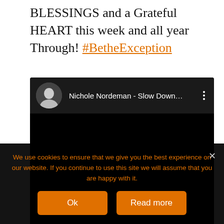BLESSINGS and a Grateful HEART this week and all year Through! #BetheException
[Figure (screenshot): Embedded YouTube video player showing 'Nichole Nordeman - Slow Down...' with a circular avatar thumbnail of a woman, video title text, and three-dot menu icon on a dark background. The video area below the header is entirely black.]
We use cookies to ensure that we give you the best experience on our website. If you continue to use this site we will assume that you are happy with it.